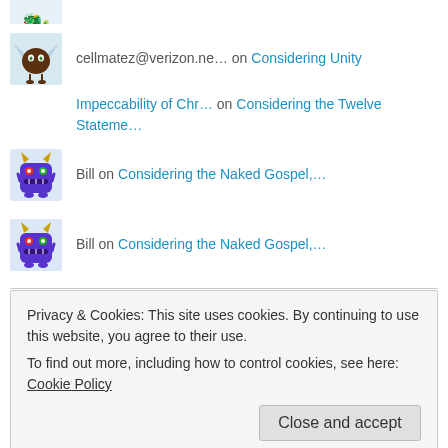[Figure (illustration): Partial avatar of a character visible at the top edge]
cellmatez@verizon.ne… on Considering Unity
Impeccability of Chr… on Considering the Twelve Stateme…
Bill on Considering the Naked Gospel,…
Bill on Considering the Naked Gospel,…
Blog Stat
Privacy & Cookies: This site uses cookies. By continuing to use this website, you agree to their use.
To find out more, including how to control cookies, see here: Cookie Policy
Close and accept
Considering Augustine on Tongues